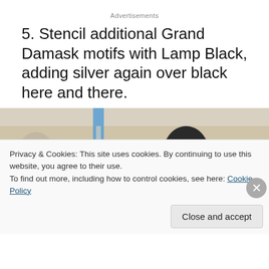Advertisements
5. Stencil additional Grand Damask motifs with Lamp Black, adding silver again over black here and there.
[Figure (photo): Photo of a wall with Grand Damask stencil pattern in black and silver/grey on a cream background, with a blue painter's tape strip visible.]
Privacy & Cookies: This site uses cookies. By continuing to use this website, you agree to their use.
To find out more, including how to control cookies, see here: Cookie Policy